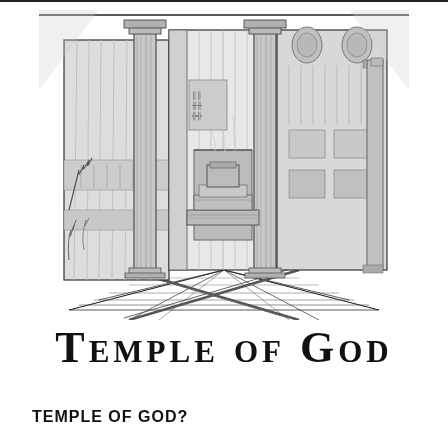[Figure (illustration): Black and white pen/ink style architectural illustration of the interior of the Temple of God, showing columns, steps, altar, and architectural details in a perspective view from slightly above.]
TEMPLE OF GOD
TEMPLE OF GOD?